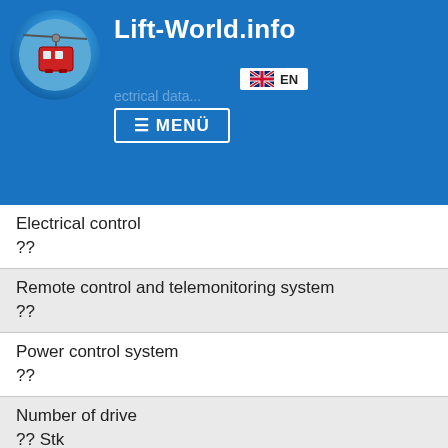Lift-World.info
| Field | Value |
| --- | --- |
| Electrical control | ?? |
| Remote control and telemonitoring system | ?? |
| Power control system | ?? |
| Number of drive | ?? Stk |
| Drive power (Start) | 983 (1191) kW |
| Drive power (Operation) |  |